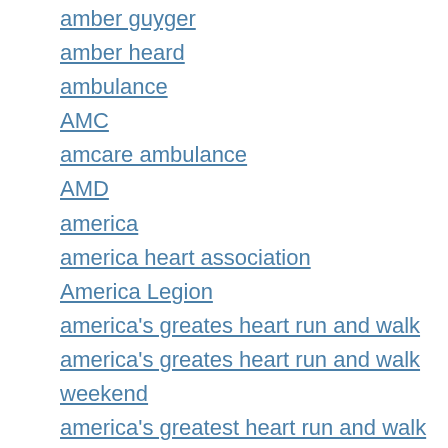amber guyger
amber heard
ambulance
AMC
amcare ambulance
AMD
america
america heart association
America Legion
america's greates heart run and walk
america's greates heart run and walk weekend
america's greatest heart run and walk
american airlines
american bald eagle
american cancer society